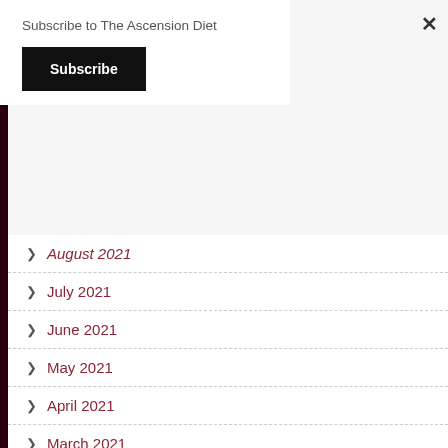Subscribe to The Ascension Diet
Subscribe
August 2021
July 2021
June 2021
May 2021
April 2021
March 2021
February 2021
January 2021